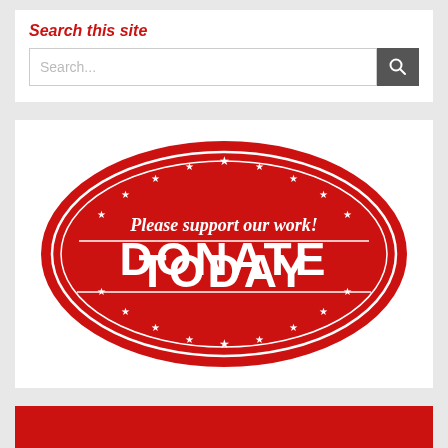Search this site
[Figure (screenshot): Search input box with placeholder text 'Search...' and a dark grey search button with magnifying glass icon]
[Figure (illustration): Red oval stamp-style badge with white text reading 'Please support our work!' and 'DONATE TODAY', decorated with stars around the inner oval border]
[Figure (other): Partially visible red bar at the bottom of the page, likely beginning of another section]